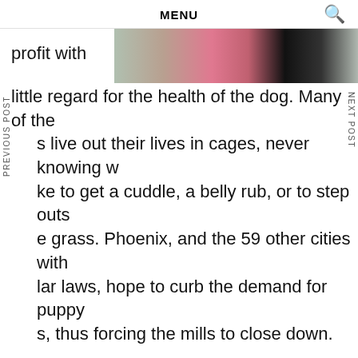MENU
[Figure (photo): Partial view of a dog or animal with pink accessories behind a cage/fence, partially obscured by text.]
profit with little regard for the health of the dog. Many of the s live out their lives in cages, never knowing w ke to get a cuddle, a belly rub, or to step outs e grass. Phoenix, and the 59 other cities with lar laws, hope to curb the demand for puppy s, thus forcing the mills to close down.
hen Colbert shocks South Carolina schools b funding every single teacher-requested grant — Colbert partnered with Share Fair Nation and ScanSource to fund nearly 1,000 projects for more than 800 teachers at over 375 schools, totaling $800,000.